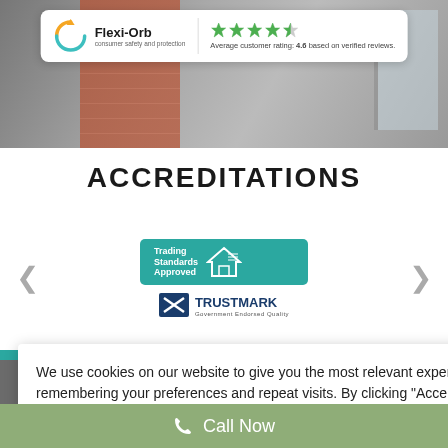[Figure (screenshot): Flexi-Orb consumer safety and protection logo with star rating. Average customer rating: 4.6 based on verified reviews.]
[Figure (photo): Background photo of a brick wall and window partially visible behind the rating banner.]
ACCREDITATIONS
[Figure (logo): Trading Standards Approved badge (teal/green rectangle) and TrustMark logo in a carousel layout with left and right navigation arrows.]
We use cookies on our website to give you the most relevant experience by remembering your preferences and repeat visits. By clicking “Accept”, you consent to the use of ALL the cookies.
Cookie settings
ACCEPT
Call Now